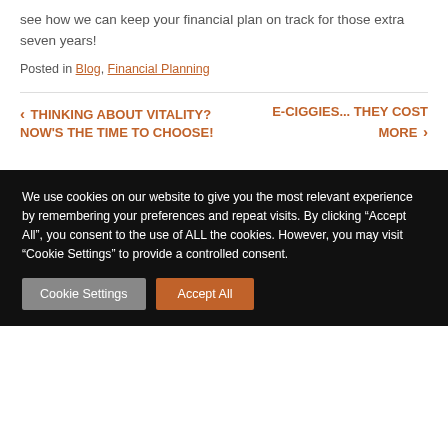see how we can keep your financial plan on track for those extra seven years!
Posted in Blog, Financial Planning
< THINKING ABOUT VITALITY? NOW'S THE TIME TO CHOOSE!
E-CIGGIES... THEY COST MORE >
We use cookies on our website to give you the most relevant experience by remembering your preferences and repeat visits. By clicking “Accept All”, you consent to the use of ALL the cookies. However, you may visit "Cookie Settings" to provide a controlled consent.